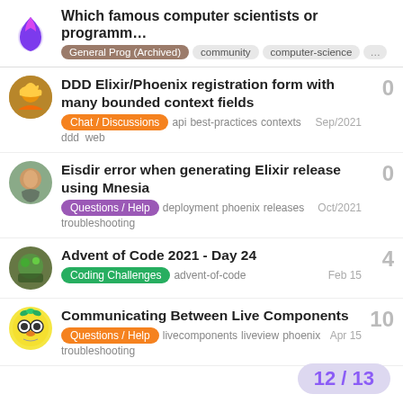Which famous computer scientists or programm... General Prog (Archived) community computer-science ...
DDD Elixir/Phoenix registration form with many bounded context fields
Chat / Discussions  api  best-practices  contexts  ddd  web  Sep/2021  0
Eisdir error when generating Elixir release using Mnesia
Questions / Help  deployment  phoenix  releases  troubleshooting  Oct/2021  0
Advent of Code 2021 - Day 24
Coding Challenges  advent-of-code  Feb 15  4
Communicating Between Live Components
Questions / Help  livecomponents  liveview  phoenix  troubleshooting  Apr 15  10
12 / 13